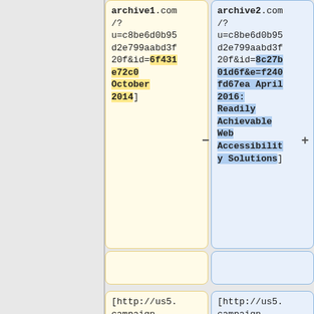archive1.com/?u=c8be6d0b95d2e799aabd3f20f&id=6f431e72c0 October 2014]
archive2.com/?u=c8be6d0b95d2e799aabd3f20f&id=8c27b01d6f&e=f240fd67ea April 2016: Readily Achievable Web Accessibility Solutions]
[http://us5.campaign-archive1.com/?u=c8be6d0b95d2e799aabd3f
[http://us5.campaign-archive1.com/?u=c8be6d0b95d2e799aabd3f